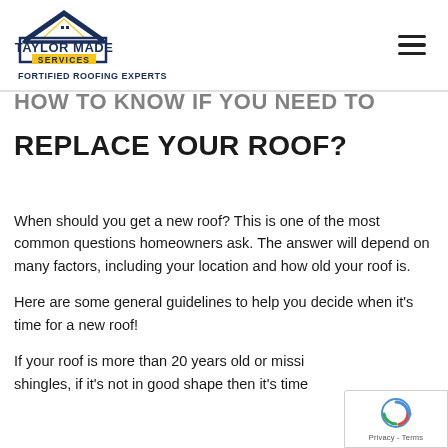[Figure (logo): Taylor Made Services – Fortified Roofing Experts logo with house/roof icon in navy and gold, hamburger menu icon on right]
HOW TO KNOW IF YOU NEED TO REPLACE YOUR ROOF?
When should you get a new roof? This is one of the most common questions homeowners ask. The answer will depend on many factors, including your location and how old your roof is.
Here are some general guidelines to help you decide when it's time for a new roof!
If your roof is more than 20 years old or missing shingles, if it's not in good shape then it's time…